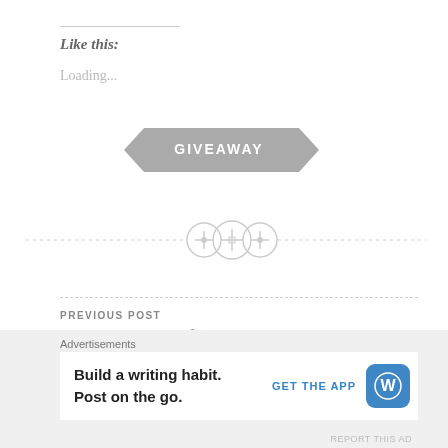Like this:
Loading...
[Figure (other): Gray arrow/banner shape with text GIVEAWAY]
[Figure (other): Decorative dashed divider with three button/circle icons in the center]
PREVIOUS POST
3 Reasons I Adore Bruno Mars
NEXT POST
Advertisements
Build a writing habit. Post on the go.
GET THE APP
REPORT THIS AD